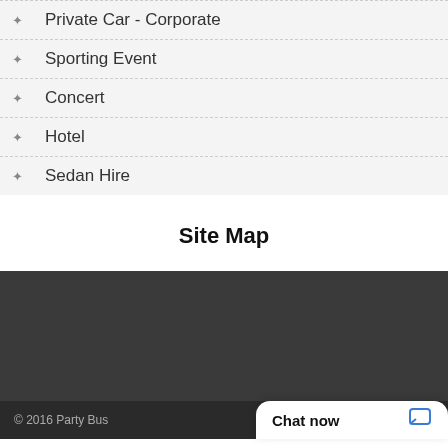Private Car - Corporate
Sporting Event
Concert
Hotel
Sedan Hire
Site Map
© 2016 Party Bus
Chat now